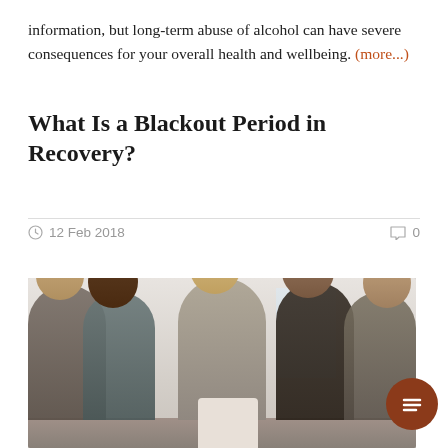information, but long-term abuse of alcohol can have severe consequences for your overall health and wellbeing. (more...)
What Is a Blackout Period in Recovery?
12 Feb 2018   0
[Figure (photo): Group therapy session showing five people seated in a circle. From left: a man, a woman with curly hair, a woman seen from behind with a blonde bun (center), a man wearing a dark knit hat, and a woman on the right. The setting is a bright room with a window in the background.]